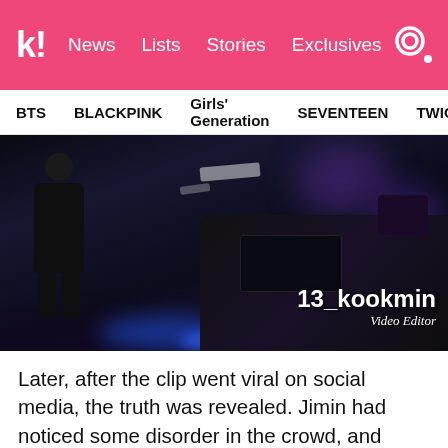k! News  Lists  Stories  Exclusives
BTS  BLACKPINK  Girls' Generation  SEVENTEEN  TWICE
[Figure (photo): Dark concert backstage scene with a person in black clothing visible, stage equipment and purple lighting effects in the background. Watermark reads '13_kookmin' and 'Video Editor'.]
Later, after the clip went viral on social media, the truth was revealed. Jimin had noticed some disorder in the crowd, and quickly realised that